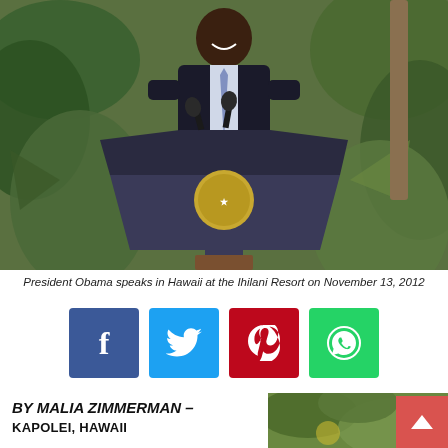[Figure (photo): President Obama standing at a presidential podium with the Presidential seal, smiling, wearing a dark suit and light blue tie, with tropical greenery in the background at the Ihilani Resort in Hawaii, November 13, 2012]
President Obama speaks in Hawaii at the Ihilani Resort on November 13, 2012
[Figure (infographic): Social media share buttons: Facebook (blue), Twitter (cyan), Pinterest (red), WhatsApp (green)]
BY MALIA ZIMMERMAN –
KAPOLEI, HAWAII
[Figure (photo): Partial thumbnail of tropical greenery]